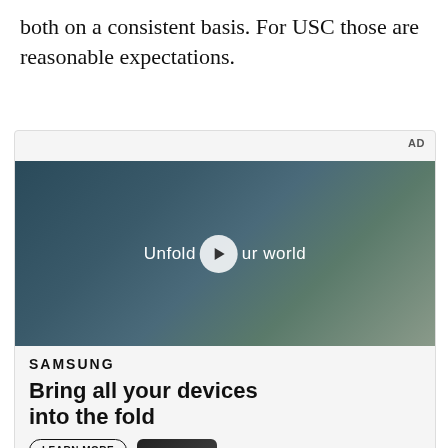both on a consistent basis. For USC those are reasonable expectations.
[Figure (screenshot): Samsung advertisement featuring a video player showing a young man walking in a cafeteria-style setting with text 'Unfold your world' and a play button overlay. Below the video: Samsung logo, headline 'Bring all your devices into the fold', a Learn More button, and a phone showing faces. Top right shows 'AD' label.]